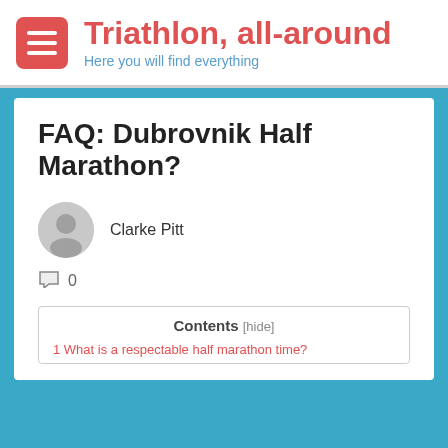Triathlon, all-around
Here you will find everything
FAQ: Dubrovnik Half Marathon?
Clarke Pitt
0
Contents [hide]
1 What is a respectable half marathon time?